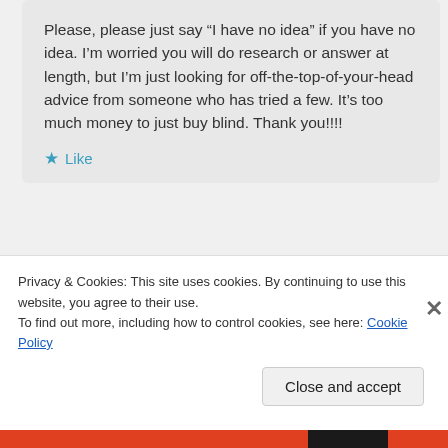Please, please just say “I have no idea” if you have no idea. I’m worried you will do research or answer at length, but I’m just looking for off-the-top-of-your-head advice from someone who has tried a few. It’s too much money to just buy blind. Thank you!!!!
★ Like
Jackie
November 13, 2013 at 4:17 pm
Privacy & Cookies: This site uses cookies. By continuing to use this website, you agree to their use.
To find out more, including how to control cookies, see here: Cookie Policy
Close and accept